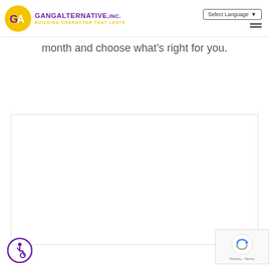Gang Alternative, Inc. — Building Character That Lasts | Select Language | Navigation menu
month and choose what’s right for you.
[Figure (screenshot): Embedded content area / iframe region with white background and light border]
[Figure (logo): Accessibility icon — person in wheelchair inside purple circle]
[Figure (other): Google reCAPTCHA Privacy & Terms badge]